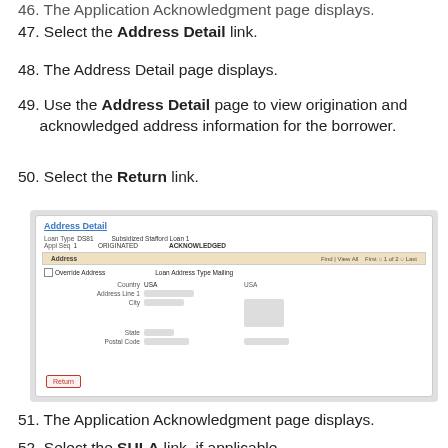46. The Application Acknowledgment page displays.
47. Select the Address Detail link.
48. The Address Detail page displays.
49. Use the Address Detail page to view origination and acknowledged address information for the borrower.
50. Select the Return link.
[Figure (screenshot): Screenshot of the Address Detail page showing Loan Type DS81, Subsidized Stafford Loan 1, Appl Seq 1, ORIGINATED and ACKNOWLEDGED columns, Address section with Find | View All, First 1 of 2 Last navigation, Override Address checkbox, Loan Address Type Mailing, Country USA, Address Line 1, City, State, Postal Code fields with redacted values, and a highlighted Return button.]
51. The Application Acknowledgment page displays.
52. Select the SULA link, if applicable.